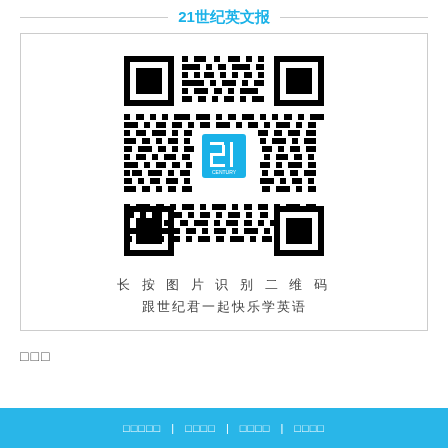21世纪英文报
[Figure (other): QR code for 21st Century English newspaper WeChat account with a '21 CENTURY' logo in the center]
长 按 图 片 识 别 二 维 码
跟世纪君一起快乐学英语
□□□
□□□□□ | □□□□ | □□□□ | □□□□